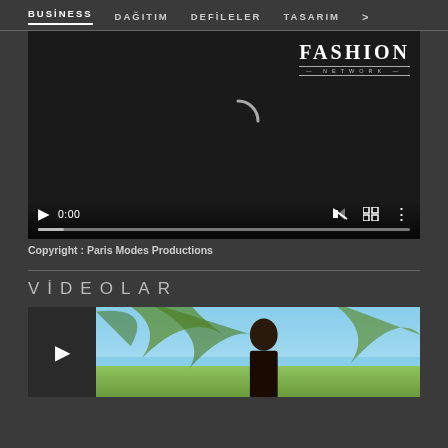BUSİNESS   DAĞITIM   DEFİLELER   TASARIM   >
[Figure (screenshot): Video player with Fashion Network logo, loading spinner, playback controls showing 0:00 timestamp, mute button, fullscreen button, and options button. Progress bar at bottom.]
Copyright : Paris Modes Productions
VİDEOLAR
[Figure (screenshot): Video thumbnail showing a person with dark hair in front of palm trees and blue sky, with a play button on the left side.]